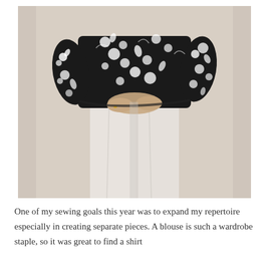[Figure (photo): A person standing against a light beige/cream wall, wearing a black and white floral blouse with long sleeves and white trousers. The person's arms are crossed at the waist. The face/head is not visible (cropped or hidden). Full body shot from neck/shoulders down to just below knees.]
One of my sewing goals this year was to expand my repertoire especially in creating separate pieces. A blouse is such a wardrobe staple, so it was great to find a shirt